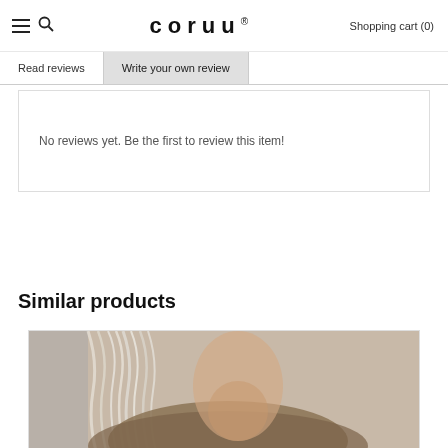coruu® Shopping cart (0)
Read reviews | Write your own review
No reviews yet. Be the first to review this item!
Similar products
[Figure (photo): Product photo showing a model with long blonde/silver hair wearing a brown textured garment, shown from the shoulders up against a concrete background.]